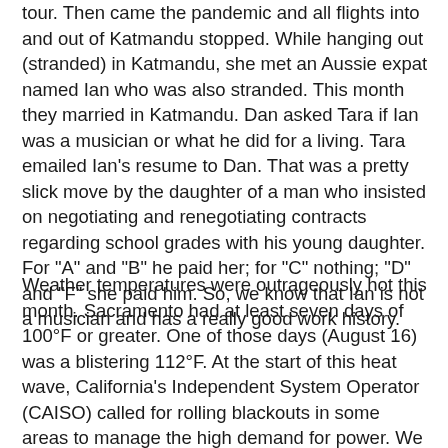tour. Then came the pandemic and all flights into and out of Katmandu stopped. While hanging out (stranded) in Katmandu, she met an Aussie expat named Ian who was also stranded. This month they married in Katmandu. Dan asked Tara if Ian was a musician or what he did for a living. Tara emailed Ian's resume to Dan. That was a pretty slick move by the daughter of a man who insisted on negotiating and renegotiating contracts regarding school grades with his young daughter. For "A" and "B" he paid her; for "C" nothing; "D" and "F" she paid him. So, we know that Ian is not a musician and has a really good work history.
Weather temperatures were outrageously hot this month. Sacramento had at least seven days of 100°F or greater. One of those days (August 16) was a blistering 112°F. At the start of this heat wave, California's Independent System Operator (CAISO) called for rolling blackouts in some areas to manage the high demand for power. We were not one of the areas, but on Friday, August 14, at 6:43pm just as I was about to turn on the oven to make a pizza, our power went off. The pizza was in a cast-iron skillet and ready to go. Dan started our Weber charcoal grill and within just a few minutes